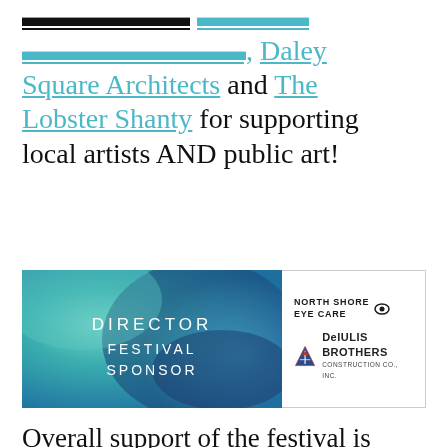Square Architects and The Lobster Shanty for supporting local artists AND public art!
[Figure (infographic): Director Festival Sponsor banner with teal/blue watercolor background on left side showing 'DIRECTOR FESTIVAL SPONSOR' text, and white panel on right with North Shore Eye Care logo and DeIulis Brothers Construction Co., Inc. logo]
Overall support of the festival is critical and allows us to keep the festival free for the community and a driver in the local creative workforce. Thanks to local leader Patrick DeIulis for supporting the festival through his sponsore...